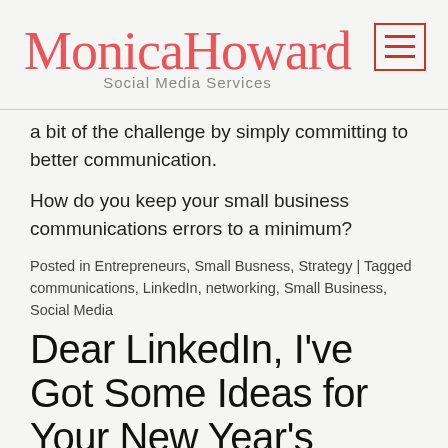Monica Howard Social Media Services
a bit of the challenge by simply committing to better communication.
How do you keep your small business communications errors to a minimum?
Posted in Entrepreneurs, Small Busness, Strategy | Tagged communications, LinkedIn, networking, Small Business, Social Media
Dear LinkedIn, I've Got Some Ideas for Your New Year's Resolutions